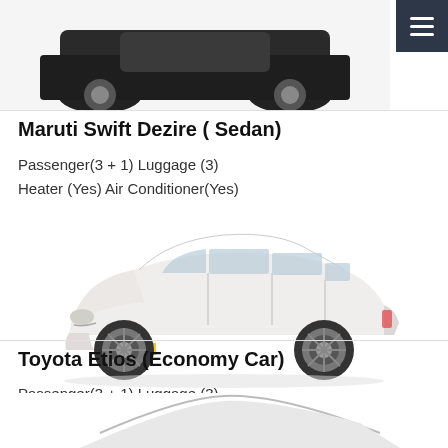[Figure (photo): Partial top view of a dark-colored car (bottom portion visible, showing front bumper and wheels), cropped at top of page]
Maruti Swift Dezire ( Sedan)
Passenger(3 + 1) Luggage (3)
Heater (Yes) Air Conditioner(Yes)
[Figure (photo): Toyota Etios white sedan car, side-front view, with yellow license plate]
Toyota Etios (Economy Car)
Passenger(3 + 1) Luggage (3)
Heater (Yes) Air Conditioner(Yes)
[Figure (photo): Partial bottom view of another car, only roofline and partial body visible, cropped at bottom of page]